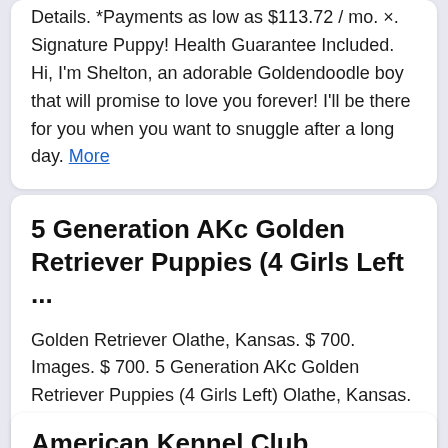Details. *Payments as low as $113.72 / mo. ×. Signature Puppy! Health Guarantee Included. Hi, I'm Shelton, an adorable Goldendoodle boy that will promise to love you forever! I'll be there for you when you want to snuggle after a long day. More
5 Generation AKc Golden Retriever Puppies (4 Girls Left ...
Golden Retriever Olathe, Kansas. $ 700. Images. $ 700. 5 Generation AKc Golden Retriever Puppies (4 Girls Left) Olathe, Kansas. May 23, 2020. More
American Kennel Club ...